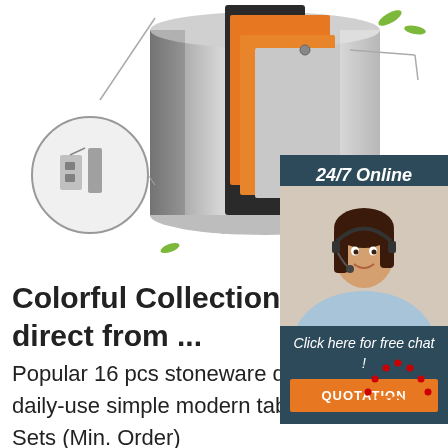[Figure (photo): Product photo of a stainless steel container/pot with orange and dark colored inner layers visible, with a circular inset zoom showing the latch/hinge detail, and scattered green leaf decorative elements in the background.]
[Figure (infographic): 24/7 Online chat widget with dark blue-gray background, photo of a smiling woman with headset, text 'Click here for free chat!' and an orange QUOTATION button.]
Colorful Collection, Colorful Co... direct from ...
Popular 16 pcs stoneware dinner set ceramic color glazed spraying dinnerware daily-use simple modern tableware kitchen supplies $12.10 - $12.35 Set 1000 Sets (Min. Order)
[Figure (logo): TOP badge - red dotted arc above orange 'TOP' text]